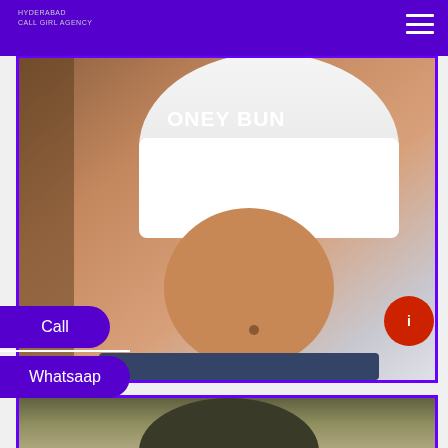HYDERABAD CALL GIRL AGENCY
[Figure (photo): Photo of a fit female torso wearing a white crop top with text 'HONEY BUN' visible, showing toned abs, against a light background]
Call
Whatsaap
[Figure (photo): Partial photo showing top of a person's head with dark hair, bottom of second card]